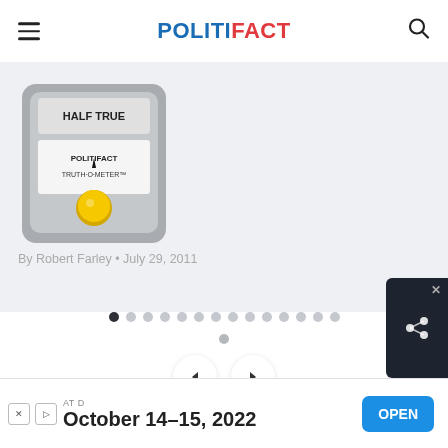POLITIFACT
[Figure (screenshot): PolitiFact Truth-O-Meter image showing 'Half True' reading with yellow indicator button, grey meter body]
By Robert Farley • July 29, 2011
[Figure (infographic): Carousel pagination dots: 15 dots in a row, first dot filled black (active), rest grey; one additional small dot below center]
[Figure (infographic): Navigation buttons: left arrow and right arrow in circular white buttons]
ATD
October 14–15, 2022
OPEN